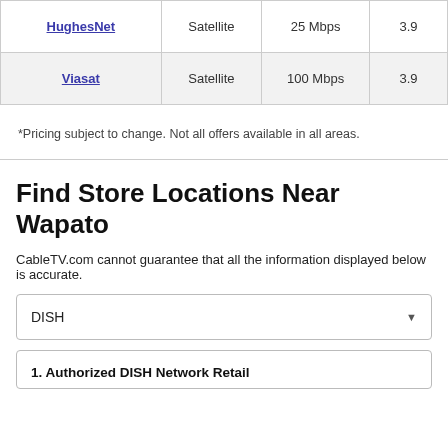| Provider | Type | Speed | Rating |
| --- | --- | --- | --- |
| HughesNet | Satellite | 25 Mbps | 3.9 |
| Viasat | Satellite | 100 Mbps | 3.9 |
*Pricing subject to change. Not all offers available in all areas.
Find Store Locations Near Wapato
CableTV.com cannot guarantee that all the information displayed below is accurate.
DISH
1. Authorized DISH Network Retailer